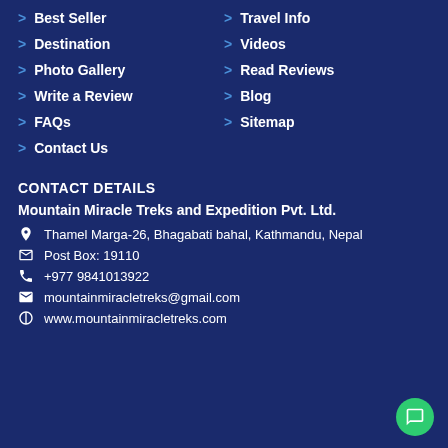> Best Seller
> Travel Info
> Destination
> Videos
> Photo Gallery
> Read Reviews
> Write a Review
> Blog
> FAQs
> Sitemap
> Contact Us
CONTACT DETAILS
Mountain Miracle Treks and Expedition Pvt. Ltd.
Thamel Marga-26, Bhagabati bahal, Kathmandu, Nepal
Post Box: 19110
+977 9841013922
mountainmiracletreks@gmail.com
www.mountainmiracletreks.com